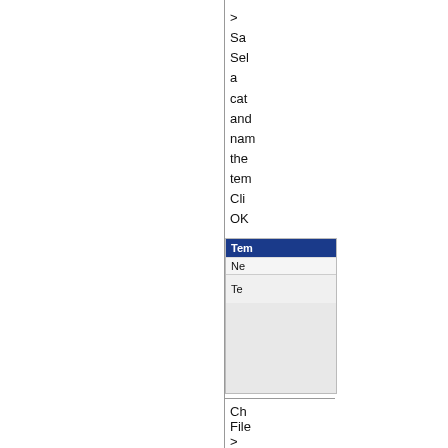>
Sa
Sel
a
cat
and
nam
the
tem
Cli
OK
[Figure (screenshot): Dialog/panel showing a template list with a highlighted header row 'Tem' in blue, rows 'Ne' and 'Te', and an empty grey area below]
Ch
File
>